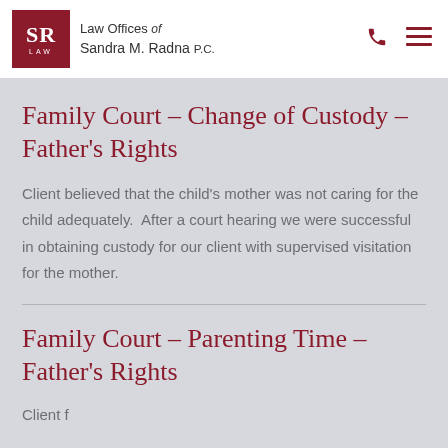[Figure (logo): SR Law logo — red square with SR initials and LAW text below, beside firm name 'Law Offices of Sandra M. Radna P.C.']
Family Court – Change of Custody – Father's Rights
Client believed that the child's mother was not caring for the child adequately.  After a court hearing we were successful in obtaining custody for our client with supervised visitation for the mother.
Family Court – Parenting Time – Father's Rights
Client f…